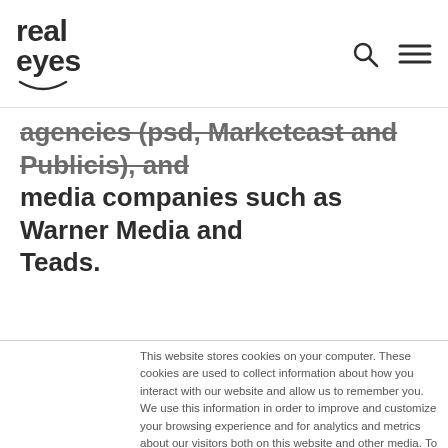real eyes
agencies (psd, Marketcast and Publicis), and media companies such as Warner Media and Teads.
This website stores cookies on your computer. These cookies are used to collect information about how you interact with our website and allow us to remember you. We use this information in order to improve and customize your browsing experience and for analytics and metrics about our visitors both on this website and other media. To find out more about the cookies we use, see our Privacy Policy.

If you decline, your information won't be tracked when you visit this website. A single cookie will be used in your browser to remember your preference not to be tracked.